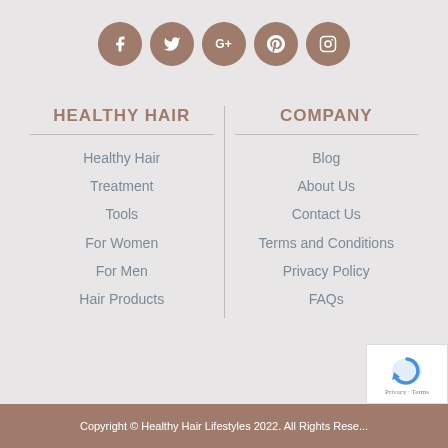[Figure (other): Row of 5 social media icon circles (Facebook, Twitter, Google+, Pinterest, Instagram) in brownish-tan color]
HEALTHY HAIR
COMPANY
Healthy Hair
Treatment
Tools
For Women
For Men
Hair Products
Blog
About Us
Contact Us
Terms and Conditions
Privacy Policy
FAQs
Copyright © Healthy Hair Lifestyles 2022. All Rights Reserved.